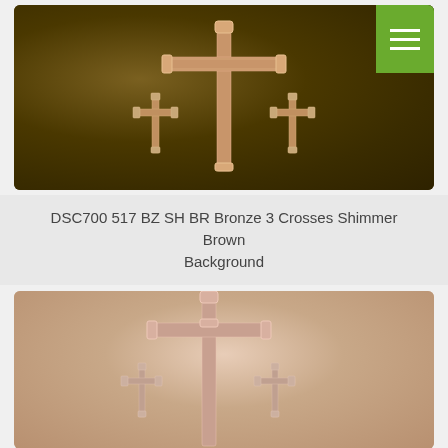[Figure (photo): Bronze 3 crosses on dark shimmer brown textured background with green menu button in top right corner]
DSC700 517 BZ SH BR Bronze 3 Crosses Shimmer Brown Background
[Figure (photo): Bronze 3 crosses on light beige/pink shimmer background, partial view]